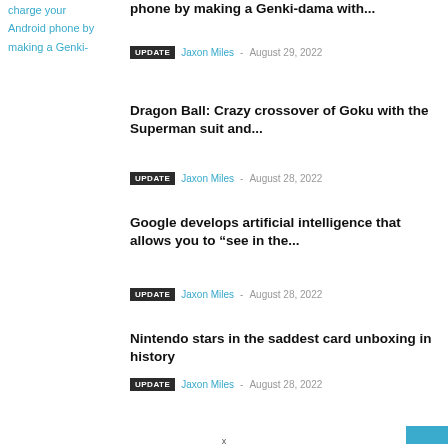charge your Android phone by making a Genki-
phone by making a Genki-dama with...
UPDATE  Jaxon Miles - August 29, 2022
Dragon Ball: Crazy crossover of Goku with the Superman suit and...
UPDATE  Jaxon Miles - August 28, 2022
Google develops artificial intelligence that allows you to “see in the...
UPDATE  Jaxon Miles - August 28, 2022
Nintendo stars in the saddest card unboxing in history
UPDATE  Jaxon Miles - August 28, 2022